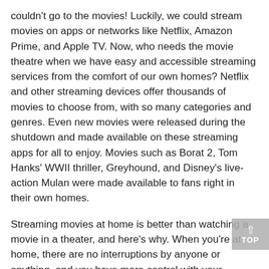couldn't go to the movies! Luckily, we could stream movies on apps or networks like Netflix, Amazon Prime, and Apple TV. Now, who needs the movie theatre when we have easy and accessible streaming services from the comfort of our own homes? Netflix and other streaming devices offer thousands of movies to choose from, with so many categories and genres. Even new movies were released during the shutdown and made available on these streaming apps for all to enjoy. Movies such as Borat 2, Tom Hanks' WWII thriller, Greyhound, and Disney's live-action Mulan were made available to fans right in their own homes.
Streaming movies at home is better than watching a movie in a theater, and here's why. When you're at home, there are no interruptions by anyone or anything, and you have more control with your remote, so you can stop or start the movie whenever you want. You can also have your own food, and you don't need to pay for popcorn, candy, or a drink, which can be expensive in theatres. Overall, there is more freedom when watching a movie at home, and